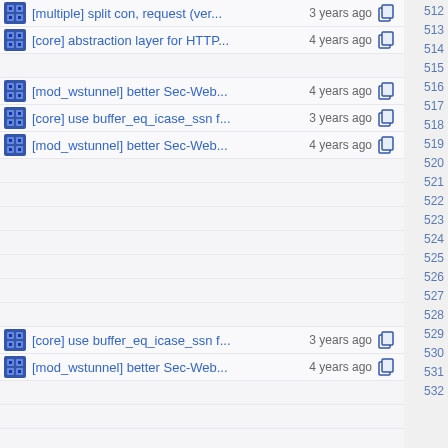[multiple] split con, request (ver... 3 years ago 512
[core] abstraction layer for HTTP... 4 years ago 513
514 (empty)
[mod_wstunnel] better Sec-Web... 4 years ago 515
[core] use buffer_eq_icase_ssn f... 3 years ago 516
[mod_wstunnel] better Sec-Web... 4 years ago 517
518 (empty)
519 (empty)
520 (empty)
521 (empty)
522 (empty)
523 (empty)
524 (empty)
[core] use buffer_eq_icase_ssn f... 3 years ago 525
[mod_wstunnel] better Sec-Web... 4 years ago 526
527 (empty)
528 (empty)
529 (empty)
530 (empty)
531 (empty)
532 (empty)